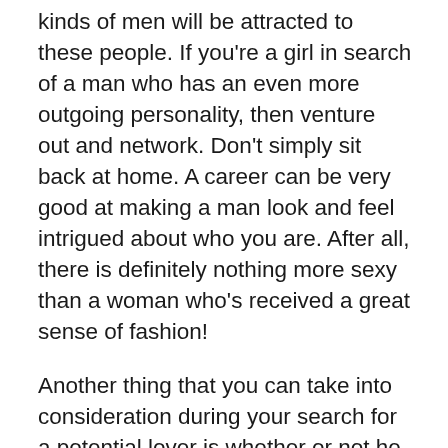kinds of men will be attracted to these people. If you're a girl in search of a man who has an even more outgoing personality, then venture out and network. Don't simply sit back at home. A career can be very good at making a man look and feel intrigued about who you are. After all, there is definitely nothing more sexy than a woman who's received a great sense of fashion!
Another thing that you can take into consideration during your search for a potential lover is whether or not he has hobbies that are just like yours. Through an interest in the things that he likes, you can pull him nearer to you. It will be easy to tell in the event that he's a person who would be considered a good online dating companion by the way his clothing look and by how he talks and carries himself. An additional aspect of a good